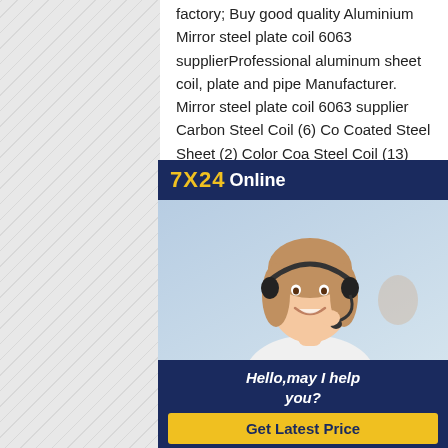factory; Buy good quality Aluminium Mirror steel plate coil 6063 supplierProfessional aluminum sheet coil, plate and pipe Manufacturer. Mirror steel plate coil 6063 supplier Carbon Steel Coil (6) Co Coated Steel Sheet (2) Color Coa Steel Coil (13) Mirror steel plate c supplier prices 1060 H24 sheet m 3003 H14 H22 aluminum coil manufacturers roll price Product D Material Grade 1060 2. Thickness 0.15~50mm 3. Width 100~2000m Mirror steel plate coil 6063 suppli
[Figure (photo): Advertisement overlay with dark blue header showing '7X24 Online' in yellow and white, a photo of a smiling woman with a headset, a dark blue footer with italic text 'Hello,may I help you?' and a yellow button 'Get Latest Price']
Aluminum Sheet Aluminum Sheets Suppliers Aluminum Sheets
Main Products Steel Plate, Steel Coil, Stainless Steel, Aluminum Plate PVC